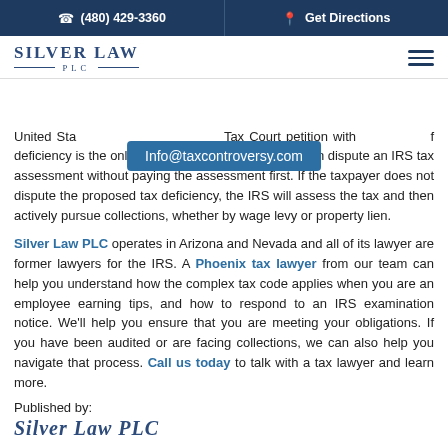(480) 429-3360 | Get Directions
[Figure (logo): Silver Law PLC logo with serif text and horizontal rules]
United States Tax Court petition with... of deficiency is the only method by which a taxpayer can dispute an IRS tax assessment without paying the assessment first. If the taxpayer does not dispute the proposed tax deficiency, the IRS will assess the tax and then actively pursue collections, whether by wage levy or property lien.
Silver Law PLC operates in Arizona and Nevada and all of its lawyer are former lawyers for the IRS. A Phoenix tax lawyer from our team can help you understand how the complex tax code applies when you are an employee earning tips, and how to respond to an IRS examination notice. We'll help you ensure that you are meeting your obligations. If you have been audited or are facing collections, we can also help you navigate that process. Call us today to talk with a tax lawyer and learn more.
Published by:
Silver Law PLC